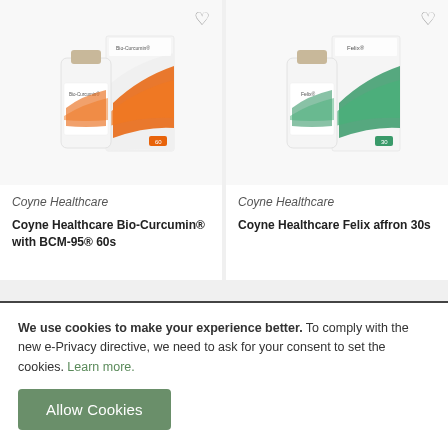[Figure (photo): Product photo of Coyne Healthcare Bio-Curcumin with BCM-95, showing a white supplement bottle and orange-accented box packaging]
Coyne Healthcare
Coyne Healthcare Bio-Curcumin® with BCM-95® 60s
[Figure (photo): Product photo of Coyne Healthcare Felix affron, showing a white supplement bottle and green-accented box packaging]
Coyne Healthcare
Coyne Healthcare Felix affron 30s
We use cookies to make your experience better. To comply with the new e-Privacy directive, we need to ask for your consent to set the cookies. Learn more.